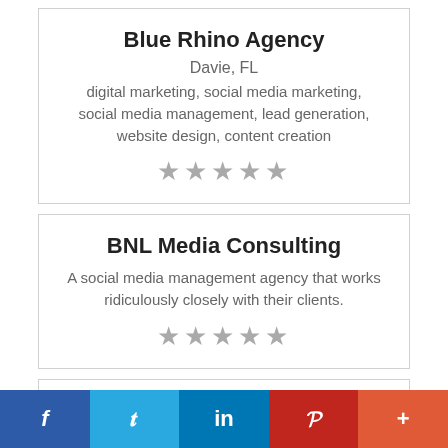Blue Rhino Agency
Davie, FL
digital marketing, social media marketing, social media management, lead generation, website design, content creation
[Figure (other): 5 grey star rating icons]
BNL Media Consulting
A social media management agency that works ridiculously closely with their clients.
[Figure (other): 5 grey star rating icons]
BoardroomPR
West Palm Beach, FL
West Palm, West Palm Beach, – PR, PR agency, PR firm, PR consultant, PR marketing agency
f  t  in  p  +